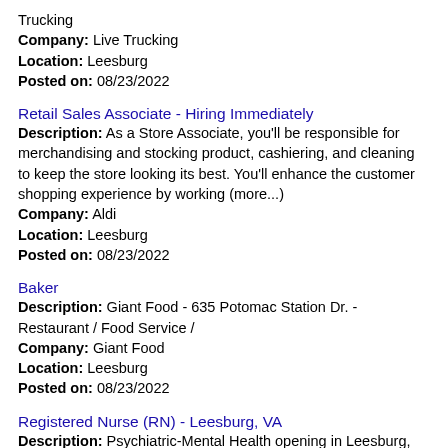Trucking
Company: Live Trucking
Location: Leesburg
Posted on: 08/23/2022
Retail Sales Associate - Hiring Immediately
Description: As a Store Associate, you'll be responsible for merchandising and stocking product, cashiering, and cleaning to keep the store looking its best. You'll enhance the customer shopping experience by working (more...)
Company: Aldi
Location: Leesburg
Posted on: 08/23/2022
Baker
Description: Giant Food - 635 Potomac Station Dr. - Restaurant / Food Service /
Company: Giant Food
Location: Leesburg
Posted on: 08/23/2022
Registered Nurse (RN) - Leesburg, VA
Description: Psychiatric-Mental Health opening in Leesburg, Virginia. This and other nursing jobs brought to you...